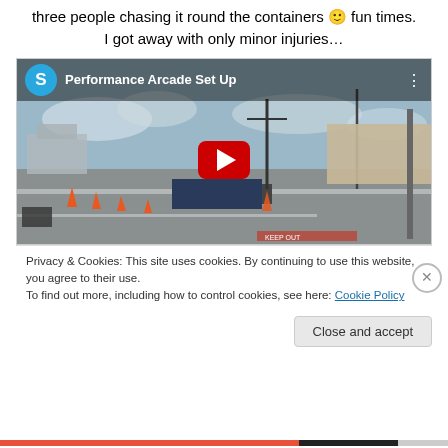three people chasing it round the containers 🙂 fun times. I got away with only minor injuries…
[Figure (screenshot): YouTube video embed showing 'Performance Arcade Set Up' with a play button overlay. The thumbnail shows an outdoor scene with orange traffic cones and containers. A blue avatar circle with 'S' is shown in the top bar.]
Privacy & Cookies: This site uses cookies. By continuing to use this website, you agree to their use.
To find out more, including how to control cookies, see here: Cookie Policy
Close and accept